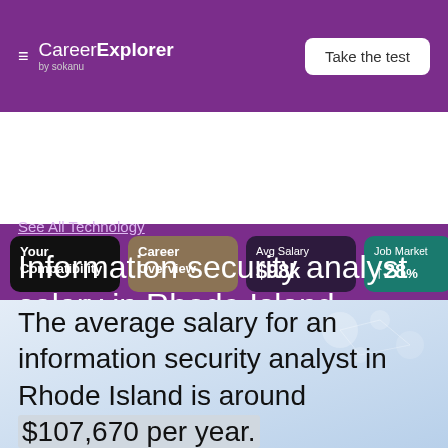CareerExplorer by sokanu | Take the test
Your Compatibility | Career Overview | Avg Salary $98k | Job Market ↑28%
See All Technology
Information security analyst salary in Rhode Island
The average salary for an information security analyst in Rhode Island is around $107,670 per year.